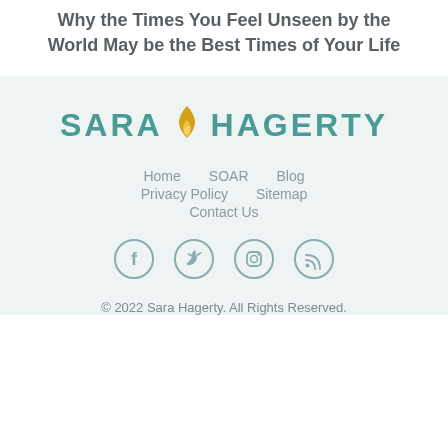Why the Times You Feel Unseen by the World May be the Best Times of Your Life
[Figure (logo): Sara Hagerty logo with flame icon in teal and gold]
Home   SOAR   Blog   Privacy Policy   Sitemap   Contact Us
[Figure (infographic): Social media icons: Facebook, Twitter, Instagram, RSS feed — circular outlined icons in gray]
© 2022 Sara Hagerty. All Rights Reserved.